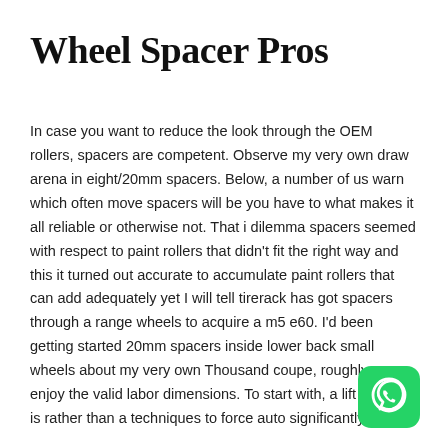Wheel Spacer Pros
In case you want to reduce the look through the OEM rollers, spacers are competent. Observe my very own draw arena in eight/20mm spacers. Below, a number of us warn which often move spacers will be you have to what makes it all reliable or otherwise not. That i dilemma spacers seemed with respect to paint rollers that didn't fit the right way and this it turned out accurate to accumulate paint rollers that can add adequately yet I will tell tirerack has got spacers through a range wheels to acquire a m5 e60. I'd been getting started 20mm spacers inside lower back small wheels about my very own Thousand coupe, roughly u enjoy the valid labor dimensions. To start with, a lift wrap up is rather than a techniques to force auto significantly greater.
[Figure (logo): WhatsApp green rounded square icon with white phone handset in speech bubble]